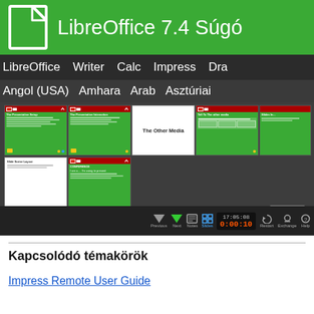LibreOffice 7.4 Súgó
LibreOffice  Writer  Calc  Impress  Draw
Angol (USA)  Amhara  Arab  Asztúriai
[Figure (screenshot): LibreOffice Impress slide sorter view showing multiple presentation slides in a dark UI, with a Close button and playback toolbar at the bottom showing time 17:05:08 and 0:00:10]
Kapcsolódó témakörök
Impress Remote User Guide